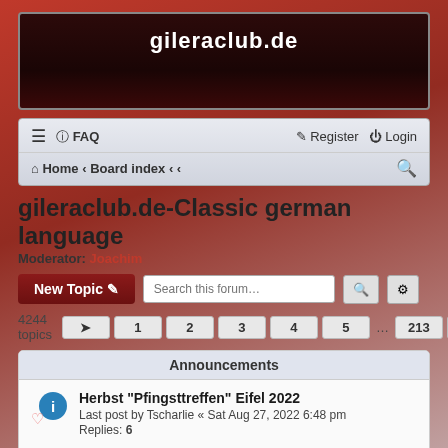gileraclub.de
[Figure (screenshot): Navigation bar with FAQ, Register, Login, Home, Board index breadcrumb and search icon]
gileraclub.de-Classic german language
Moderator: Joachim
New Topic   Search this forum...
4244 topics  1  2  3  4  5  ...  213  >
Announcements
Herbst "Pfingsttreffen" Eifel 2022
Last post by Tscharlie « Sat Aug 27, 2022 6:48 pm
Replies: 6
Neuanmeldungen am Forum
Last post by Joachim « Fri Feb 24, 2017 9:09 am